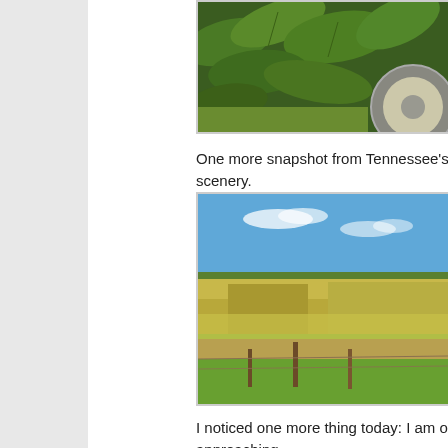[Figure (photo): Partial view of large green leaves with tractor wheel visible in background, cropped at top of page]
One more snapshot from Tennessee's beautiful scenery.
[Figure (photo): Wide open Tennessee farmland with yellow-green fields under blue sky with light clouds, wooden fence post in foreground]
I noticed one more thing today: I am obviously approaching country because I'm having more and more trouble unders...